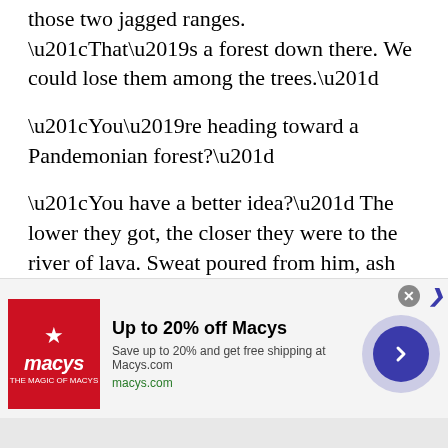The trail led toward a wooded valley between those two jagged ranges. “That’s a forest down there. We could lose them among the trees.”
“You’re heading toward a Pandemonian forest?”
“You have a better idea?” The lower they got, the closer they were to the river of lava. Sweat poured from him, ash drying out his mouth. The demons stayed right on his heels.
“I feel like I’m cooking!”
“We’re almost there.” The path finally veered away from the lava, leading straight to the forest.
[Figure (other): Advertisement banner for Macy's: Up to 20% off Macy's. Save up to 20% and get free shipping at Macys.com. macys.com]